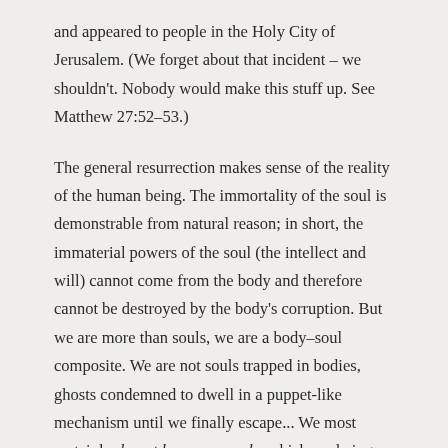and appeared to people in the Holy City of Jerusalem. (We forget about that incident – we shouldn't. Nobody would make this stuff up. See Matthew 27:52–53.)
The general resurrection makes sense of the reality of the human being. The immortality of the soul is demonstrable from natural reason; in short, the immaterial powers of the soul (the intellect and will) cannot come from the body and therefore cannot be destroyed by the body's corruption. But we are more than souls, we are a body–soul composite. We are not souls trapped in bodies, ghosts condemned to dwell in a puppet-like mechanism until we finally escape... We most certainly do not become angels, which are beings who never had flesh and never will. No, we are really made from the dust of the Earth, as Genesis 2 teaches, and so the body is a good